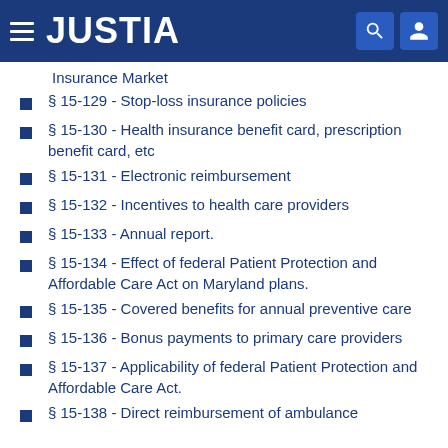JUSTIA
Insurance Market
§ 15-129 - Stop-loss insurance policies
§ 15-130 - Health insurance benefit card, prescription benefit card, etc
§ 15-131 - Electronic reimbursement
§ 15-132 - Incentives to health care providers
§ 15-133 - Annual report.
§ 15-134 - Effect of federal Patient Protection and Affordable Care Act on Maryland plans.
§ 15-135 - Covered benefits for annual preventive care
§ 15-136 - Bonus payments to primary care providers
§ 15-137 - Applicability of federal Patient Protection and Affordable Care Act.
§ 15-138 - Direct reimbursement of ambulance